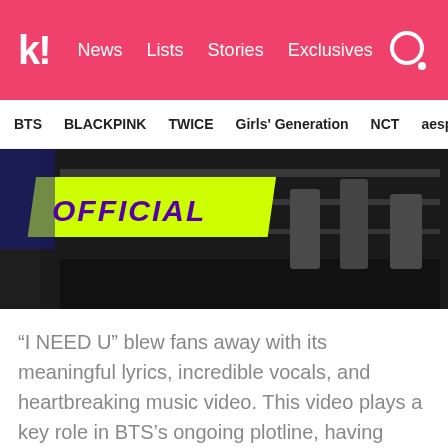k! News Lists Stories Exclusives
BTS BLACKPINK TWICE Girls' Generation NCT aespa
[Figure (photo): Dark background scene with people, a green and purple OFFICIAL badge in the top left corner]
“I NEED U” blew fans away with its meaningful lyrics, incredible vocals, and heartbreaking music video. This video plays a key role in BTS’s ongoing plotline, having introduced many of the situations the members face in subsequent music videos.
15. “DNA”